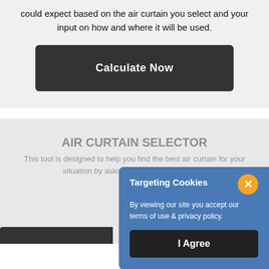could expect based on the air curtain you select and your input on how and where it will be used.
[Figure (screenshot): Dark gray 'Calculate Now' button]
AIR CURTAIN SELECTOR
This tool is designed to help you find the best air curtain for your situation by asking a few basic questions.
[Figure (screenshot): Cookie consent modal overlay with blue background, 'Targeting Cookies' title, orange X close button, body text, and 'I Agree' dark button]